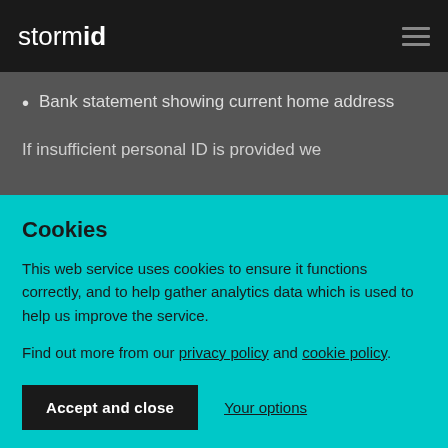stormid
Bank statement showing current home address
If insufficient personal ID is provided we
Cookies
This web service uses cookies to ensure it functions correctly, and to help gather analytics data which is used to help us improve the service.
Find out more from our privacy policy and cookie policy.
Accept and close   Your options